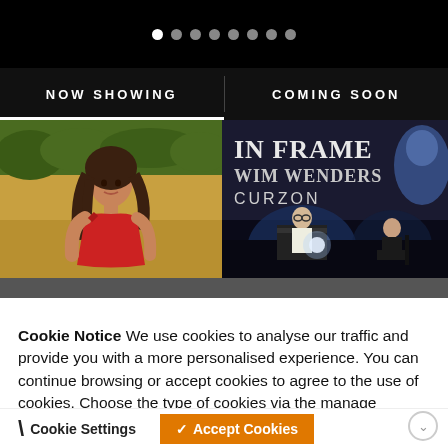[Figure (screenshot): Black top bar with carousel dot indicators — one white active dot and seven gray dots]
NOW SHOWING
COMING SOON
[Figure (photo): Young woman in red dress standing in a sunny field with green hedge background]
[Figure (photo): Stage event showing 'IN FRAME WIM WENDERS CURZON' projected on screen, with two people on stage]
Cookie Notice We use cookies to analyse our traffic and provide you with a more personalised experience. You can continue browsing or accept cookies to agree to the use of cookies. Choose the type of cookies via the manage cookies link.
Cookie Settings
Accept Cookies